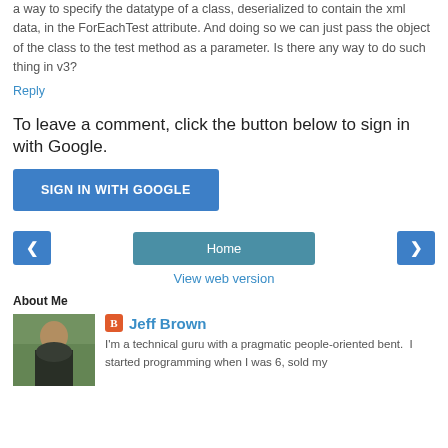a way to specify the datatype of a class, deserialized to contain the xml data, in the ForEachTest attribute. And doing so we can just pass the object of the class to the test method as a parameter. Is there any way to do such thing in v3?
Reply
To leave a comment, click the button below to sign in with Google.
SIGN IN WITH GOOGLE
Home
View web version
About Me
[Figure (photo): Photo of Jeff Brown outdoors, sitting in front of greenery, wearing a black t-shirt]
Jeff Brown
I'm a technical guru with a pragmatic people-oriented bent.  I started programming when I was 6, sold my